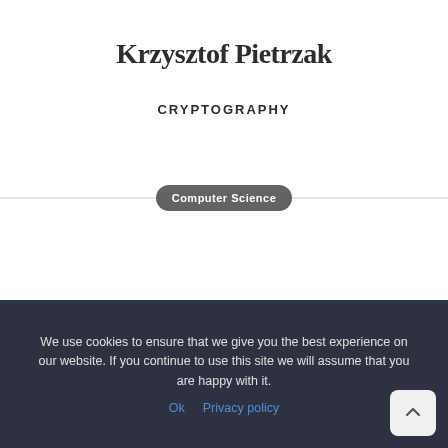Krzysztof Pietrzak
CRYPTOGRAPHY
Computer Science
We use cookies to ensure that we give you the best experience on our website. If you continue to use this site we will assume that you are happy with it.
Ok   Privacy policy